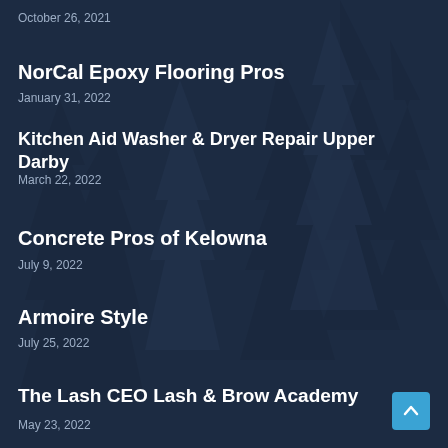October 26, 2021
NorCal Epoxy Flooring Pros
January 31, 2022
Kitchen Aid Washer & Dryer Repair Upper Darby
March 22, 2022
Concrete Pros of Kelowna
July 9, 2022
Armoire Style
July 25, 2022
The Lash CEO Lash & Brow Academy
May 23, 2022